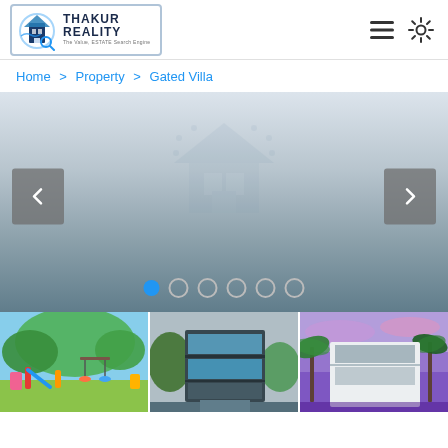[Figure (logo): Thakur Reality logo with building/handshake icon, text THAKUR REALITY, tagline below]
Home > Property > Gated Villa
[Figure (screenshot): Property photo slideshow with left and right navigation arrows, a faint house watermark icon in the center, gradient background from light gray to dark gray, and six pagination dots at the bottom (first dot filled blue)]
[Figure (photo): Thumbnail strip of three property photos: 1) colorful children's playground with slides and trees, 2) modern glass-facade villa/building with trees, 3) modern white building with palm trees at dusk]